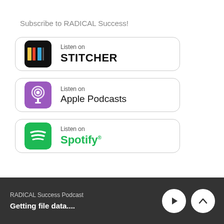Subscribe to RADICAL Success!
[Figure (logo): Listen on Stitcher badge with Stitcher app icon]
[Figure (logo): Listen on Apple Podcasts badge with Apple Podcasts app icon]
[Figure (logo): Listen on Spotify badge with Spotify logo]
RADICAL Success Podcast
Getting file data....